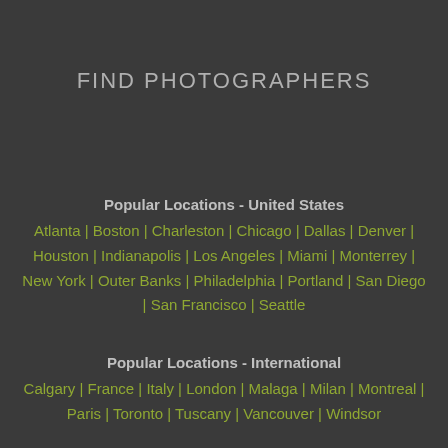FIND PHOTOGRAPHERS
Popular Locations - United States
Atlanta | Boston | Charleston | Chicago | Dallas | Denver | Houston | Indianapolis | Los Angeles | Miami | Monterrey | New York | Outer Banks | Philadelphia | Portland | San Diego | San Francisco | Seattle
Popular Locations - International
Calgary | France | Italy | London | Malaga | Milan | Montreal | Paris | Toronto | Tuscany | Vancouver | Windsor